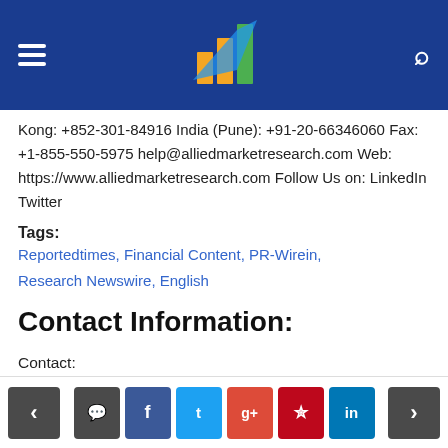Allied Market Research header with hamburger menu, logo, and search icon
Kong: +852-301-84916 India (Pune): +91-20-66346060 Fax: +1-855-550-5975 help@alliedmarketresearch.com Web: https://www.alliedmarketresearch.com Follow Us on: LinkedIn Twitter
Tags: Reportedtimes, Financial Content, PR-Wirein, Research Newswire, English
Contact Information:
Contact:
David Correa
5933 NE Win Sivers Drive
#205, Portland, OR 97220